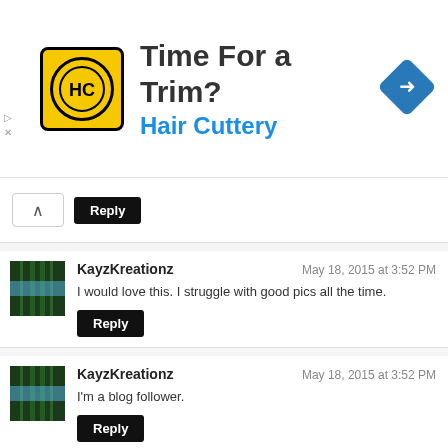[Figure (other): Advertisement banner for Hair Cuttery with logo, text 'Time For a Trim?' and 'Hair Cuttery', and a blue navigation arrow icon]
Reply
[Figure (photo): Avatar thumbnail showing a waterfall, for user KayzKreationz]
KayzKreationz — May 18, 2015 at 3:52 PM — I would love this. I struggle with good pics all the time. — Reply
[Figure (photo): Avatar thumbnail showing a waterfall, for user KayzKreationz]
KayzKreationz — May 18, 2015 at 3:52 PM — I'm a blog follower. — Reply
[Figure (photo): Avatar thumbnail showing a waterfall, for user KayzKreationz]
KayzKreationz — May 18, 2015 at 3:53 PM — I tweeted about your post and giveaway.